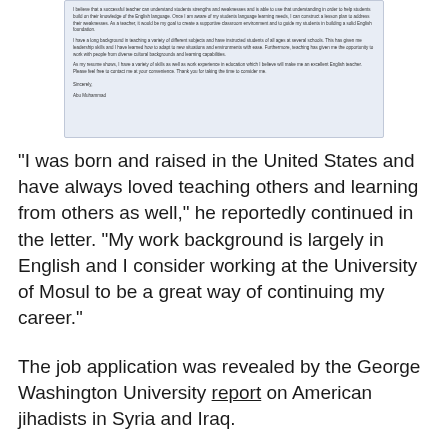[Figure (screenshot): A screenshot of a letter or document page showing text paragraphs and a signature. The document appears to be a cover letter or application, ending with 'Sincerely, Abu Muhammad'.]
"I was born and raised in the United States and have always loved teaching others and learning from others as well," he reportedly continued in the letter. "My work background is largely in English and I consider working at the University of Mosul to be a great way of continuing my career."
The job application was revealed by the George Washington University report on American jihadists in Syria and Iraq.